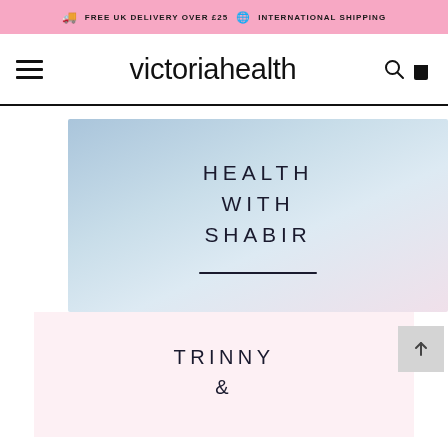🚚 FREE UK DELIVERY OVER £25 🌐 INTERNATIONAL SHIPPING
victoriahealth
[Figure (screenshot): Hero banner with blue-to-pink gradient background showing text 'HEALTH WITH SHABIR' and a horizontal divider line]
TRINNY &